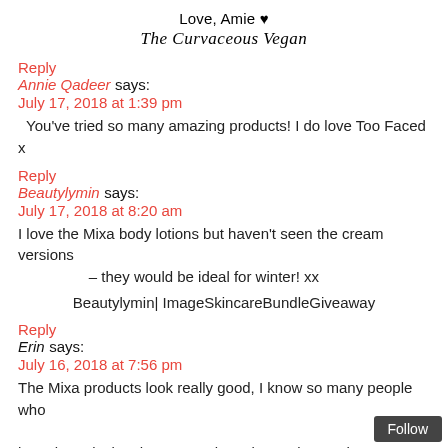Love, Amie ♥
The Curvaceous Vegan
Reply
Annie Qadeer says:
July 17, 2018 at 1:39 pm
You've tried so many amazing products! I do love Too Faced x
Reply
Beautylymin says:
July 17, 2018 at 8:20 am
I love the Mixa body lotions but haven't seen the cream versions – they would be ideal for winter! xx
Beautylymin| ImageSkincareBundleGiveaway
Reply
Erin says:
July 16, 2018 at 7:56 pm
The Mixa products look really good, I know so many people who have been loving them recently and I need to try them cut mo...